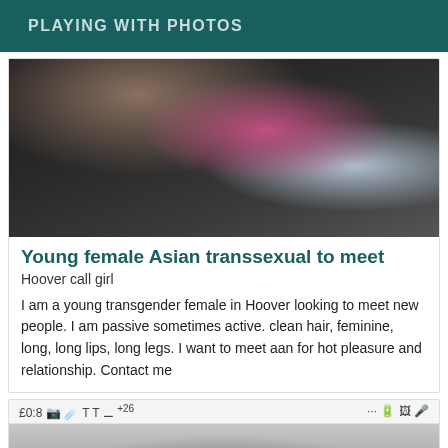PLAYING WITH PHOTOS
[Figure (photo): A photo showing a young person with long dark hair, wearing a pink and blue jacket, taken from above at an angle.]
Young female Asian transsexual to meet
Hoover call girl
I am a young transgender female in Hoover looking to meet new people. I am passive sometimes active. clean hair, feminine, long, long lips, long legs. I want to meet aan for hot pleasure and relationship. Contact me
[Figure (screenshot): A mobile phone screenshot showing a status bar with time £0:8, battery and signal icons, followed by a partial photo of a person.]